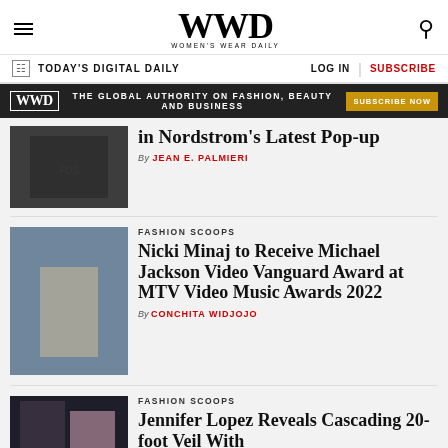WWD — Women's Wear Daily
TODAY'S DIGITAL DAILY   LOG IN   SUBSCRIBE
[Figure (infographic): WWD ad banner: THE GLOBAL AUTHORITY ON FASHION, BEAUTY AND BUSINESS — SUBSCRIBE NOW]
[Figure (photo): Photo for article about Nordstrom's Latest Pop-up]
in Nordstrom's Latest Pop-up
By JEAN E. PALMIERI
[Figure (photo): Photo of Nicki Minaj at MTV VMAs]
FASHION SCOOPS
Nicki Minaj to Receive Michael Jackson Video Vanguard Award at MTV Video Music Awards 2022
By CONCHITA WIDJOJO
[Figure (photo): Photo of Jennifer Lopez and partner]
FASHION SCOOPS
Jennifer Lopez Reveals Cascading 20-foot Veil With